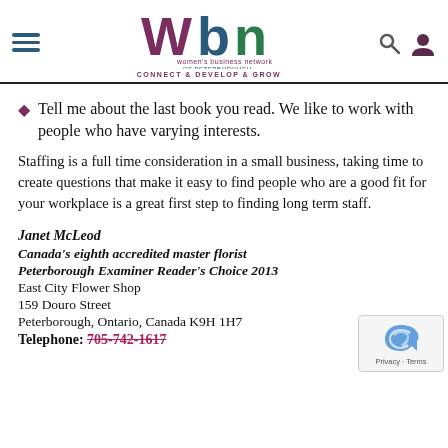Women's Business Network of Peterborough — CONNECT & DEVELOP & GROW
Tell me about the last book you read. We like to work with people who have varying interests.
Staffing is a full time consideration in a small business, taking time to create questions that make it easy to find people who are a good fit for your workplace is a great first step to finding long term staff.
Janet McLeod
Canada's eighth accredited master florist
Peterborough Examiner Reader's Choice 2013
East City Flower Shop
159 Douro Street
Peterborough, Ontario, Canada K9H 1H7
Telephone: 705-742-1617